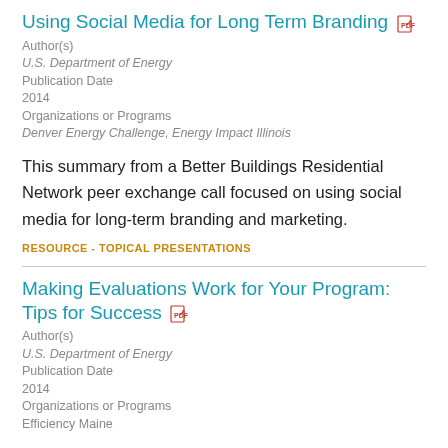Using Social Media for Long Term Branding
Author(s)
U.S. Department of Energy
Publication Date
2014
Organizations or Programs
Denver Energy Challenge, Energy Impact Illinois
This summary from a Better Buildings Residential Network peer exchange call focused on using social media for long-term branding and marketing.
RESOURCE - TOPICAL PRESENTATIONS
Making Evaluations Work for Your Program: Tips for Success
Author(s)
U.S. Department of Energy
Publication Date
2014
Organizations or Programs
Efficiency Maine